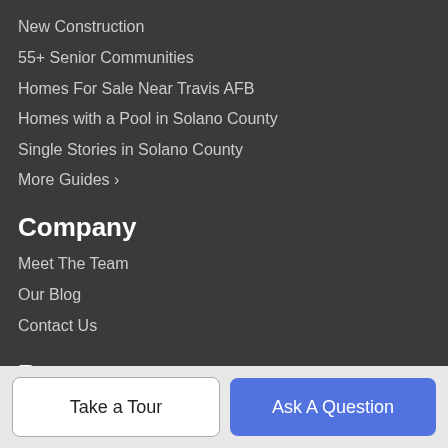New Construction
55+ Senior Communities
Homes For Sale Near Travis AFB
Homes with a Pool in Solano County
Single Stories in Solano County
More Guides >
Company
Meet The Team
Our Blog
Contact Us
Resources
Buy a Home
Sell Your Home
Finance
Take a Tour
Ask A Question